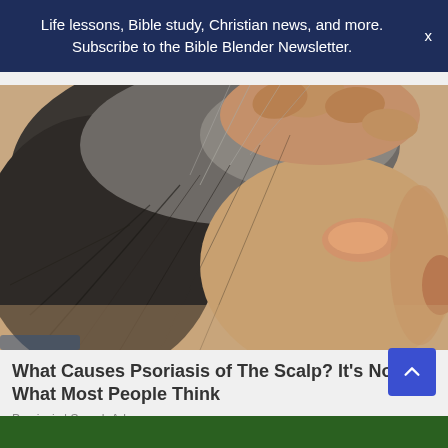Life lessons, Bible study, Christian news, and more. Subscribe to the Bible Blender Newsletter.
[Figure (photo): Close-up photograph of the back of a person's head and neck showing gray hair. A hand is parting the hair to reveal a skin condition (psoriasis) on the scalp/neck area. The skin shows redness and scaling characteristic of psoriasis.]
What Causes Psoriasis of The Scalp? It's Not What Most People Think
Psoriasis | Search Ads